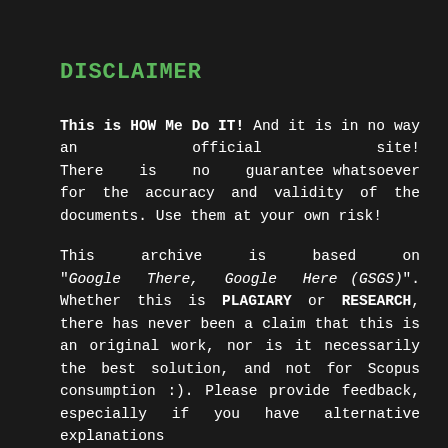DISCLAIMER
This is HOW Me Do IT! And it is in no way an official site! There is no guarantee whatsoever for the accuracy and validity of the documents. Use them at your own risk!
This archive is based on "Google There, Google Here (GSGS)". Whether this is PLAGIARY or RESEARCH, there has never been a claim that this is an original work, nor is it necessarily the best solution, and not for Scopus consumption :). Please provide feedback, especially if you have alternative explanations